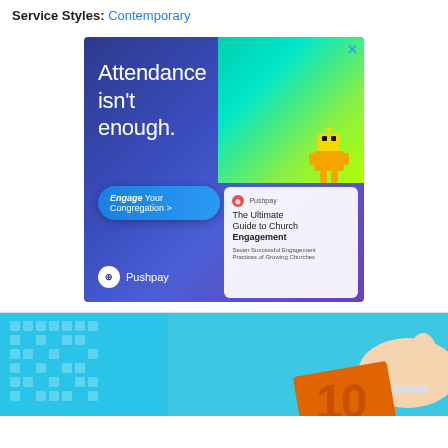Service Styles: Contemporary
[Figure (illustration): Pushpay advertisement banner. Dark blue/purple gradient background. Left side: large white text 'Attendance isn't enough.' with a blue 'Engage Your Congregation >' button and Pushpay logo at bottom. Right side: teal/green gradient with a robot figure hanging upside down, and a white card showing 'The Ultimate Guide to Church Engagement' with subtitle 'Seven Successful Engagement Practices of Growing Churches'. Close X button in top right corner.]
[Figure (photo): Partial photo showing a light blue pixelated/mosaic background on the left and a hand holding an orange card or tile with the number '10' partially visible at bottom right.]